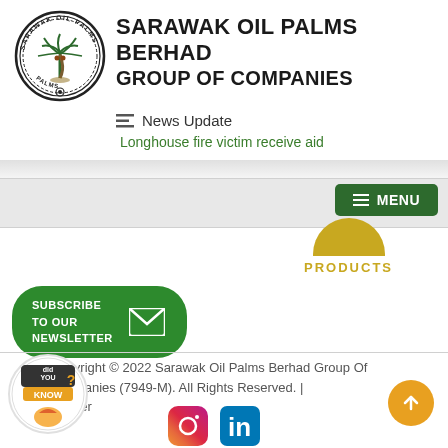[Figure (logo): Sarawak Oil Palms circular logo with palm tree illustration and company name around the border]
SARAWAK OIL PALMS BERHAD GROUP OF COMPANIES
News Update
Longhouse fire victim receive aid
[Figure (infographic): Green MENU button with hamburger icon on right side navigation bar]
[Figure (infographic): Gold/yellow circular Products icon with PRODUCTS label below]
[Figure (infographic): Green rounded rectangle Subscribe to Our Newsletter button with envelope icon]
Copyright © 2022 Sarawak Oil Palms Berhad Group Of Companies (7949-M). All Rights Reserved. | Disclaimer
[Figure (infographic): Social media icons: Facebook, Instagram, LinkedIn]
[Figure (infographic): Did You Know chat bubble logo (bottom left) and orange back-to-top arrow button (bottom right)]